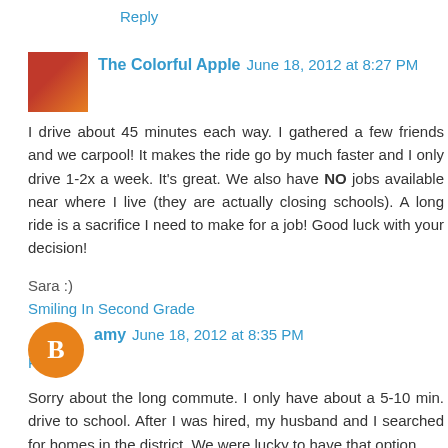Reply
The Colorful Apple  June 18, 2012 at 8:27 PM
I drive about 45 minutes each way. I gathered a few friends and we carpool! It makes the ride go by much faster and I only drive 1-2x a week. It's great. We also have NO jobs available near where I live (they are actually closing schools). A long ride is a sacrifice I need to make for a job! Good luck with your decision!

Sara :)
Smiling In Second Grade
Reply
amy  June 18, 2012 at 8:35 PM
Sorry about the long commute. I only have about a 5-10 min. drive to school. After I was hired, my husband and I searched for homes in the district. We were lucky to have that option.